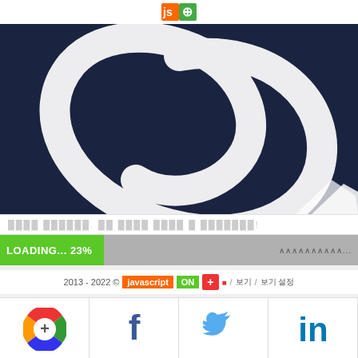[Figure (logo): JS+ logo in orange and green square icon]
[Figure (illustration): Dark navy blue background with large white circular/spiral brush stroke design]
████ ██████. ██ ████ ████ █ ███████!
[Figure (infographic): Loading progress bar showing LOADING... 23% in green, with wavy text on the right side]
2013 - 2022 © javascript ON + ■ / 보기 / 보기 설정
[Figure (infographic): Social media icons row: colorful plus circle, Facebook f, Twitter bird, LinkedIn in]